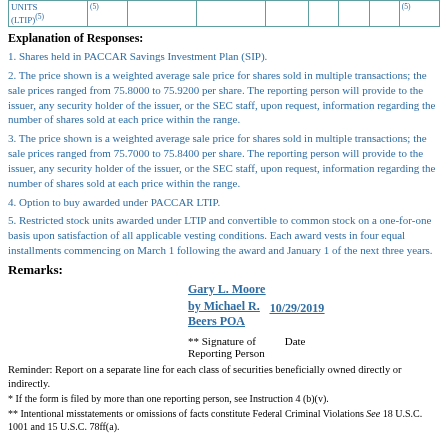| UNITS (LTIP)(5) | (5) |  |  |  |  |  |  | (5) |
| --- | --- | --- | --- | --- | --- | --- | --- | --- |
|  |  |  |  |  |  |  |  |  |
Explanation of Responses:
1. Shares held in PACCAR Savings Investment Plan (SIP).
2. The price shown is a weighted average sale price for shares sold in multiple transactions; the sale prices ranged from 75.8000 to 75.9200 per share. The reporting person will provide to the issuer, any security holder of the issuer, or the SEC staff, upon request, information regarding the number of shares sold at each price within the range.
3. The price shown is a weighted average sale price for shares sold in multiple transactions; the sale prices ranged from 75.7000 to 75.8400 per share. The reporting person will provide to the issuer, any security holder of the issuer, or the SEC staff, upon request, information regarding the number of shares sold at each price within the range.
4. Option to buy awarded under PACCAR LTIP.
5. Restricted stock units awarded under LTIP and convertible to common stock on a one-for-one basis upon satisfaction of all applicable vesting conditions. Each award vests in four equal installments commencing on March 1 following the award and January 1 of the next three years.
Remarks:
Gary L. Moore by Michael R. Beers POA    10/29/2019
** Signature of Reporting Person    Date
Reminder: Report on a separate line for each class of securities beneficially owned directly or indirectly.
* If the form is filed by more than one reporting person, see Instruction 4 (b)(v).
** Intentional misstatements or omissions of facts constitute Federal Criminal Violations See 18 U.S.C. 1001 and 15 U.S.C. 78ff(a).